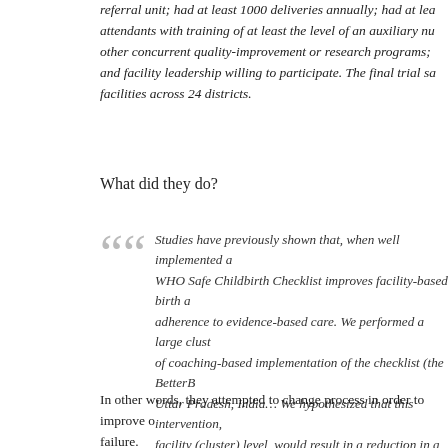referral unit; had at least 1000 deliveries annually; had at least attendants with training of at least the level of an auxiliary nu other concurrent quality-improvement or research programs; and facility leadership willing to participate. The final trial sa facilities across 24 districts.
What did they do?
Studies have previously shown that, when well implemented a WHO Safe Childbirth Checklist improves facility-based birth a adherence to evidence-based care. We performed a large clust of coaching-based implementation of the checklist (the BetterB Uttar Pradesh, India… We hypothesized that this intervention, facility (cluster) level, would result in a reduction in a compos stillbirth, early neonatal death, maternal death, or maternal se during days 0 to 7.
In other words, they attempted to change process in order to improve o failure.